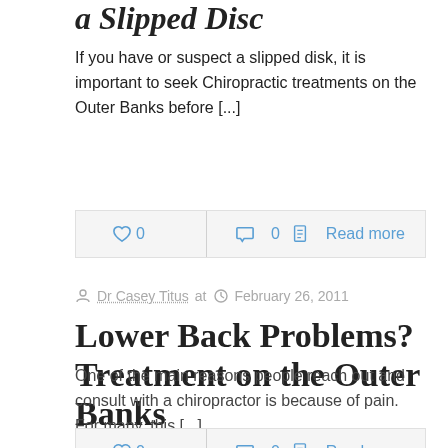a Slipped Disc
If you have or suspect a slipped disk, it is important to seek Chiropractic treatments on the Outer Banks before [...]
♡ 0  ◯ 0  ▣ Read more
Dr Casey Titus at  February 26, 2011
Lower Back Problems? Treatment on the Outer Banks
One of the main reasons people reach out and consult with a chiropractor is because of pain. For many, this [...]
♡ 0  ◯ 0  ▣ Read more